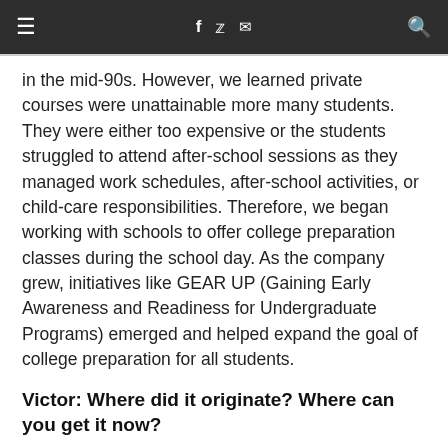≡  f  𝕏  ✉  🔍
in the mid-90s. However, we learned private courses were unattainable more many students. They were either too expensive or the students struggled to attend after-school sessions as they managed work schedules, after-school activities, or child-care responsibilities. Therefore, we began working with schools to offer college preparation classes during the school day. As the company grew, initiatives like GEAR UP (Gaining Early Awareness and Readiness for Undergraduate Programs) emerged and helped expand the goal of college preparation for all students.
Victor: Where did it originate? Where can you get it now?
Roy: SureScore was launched in Austin, Texas, and is